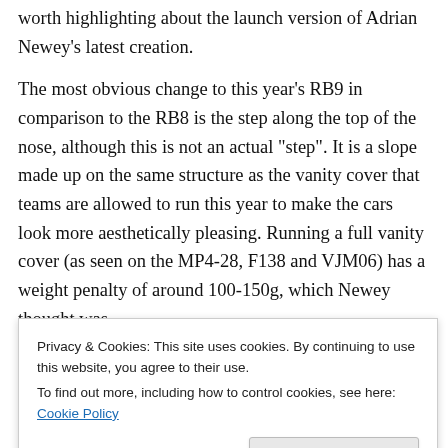testing this week in Jerez, but there are a few details worth highlighting about the launch version of Adrian Newey's latest creation.
The most obvious change to this year's RB9 in comparison to the RB8 is the step along the top of the nose, although this is not an actual “step”. It is a slope made up on the same structure as the vanity cover that teams are allowed to run this year to make the cars look more aesthetically pleasing. Running a full vanity cover (as seen on the MP4-28, F138 and VJM06) has a weight penalty of around 100-150g, which Newey thought was
Privacy & Cookies: This site uses cookies. By continuing to use this website, you agree to their use.
To find out more, including how to control cookies, see here: Cookie Policy
rivals whilst still gaining some benefit of the smoother